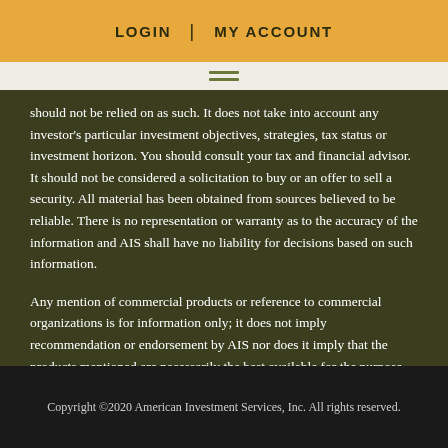LOGIN | MY ACCOUNT
should not be relied on as such. It does not take into account any investor's particular investment objectives, strategies, tax status or investment horizon. You should consult your tax and financial advisor. It should not be considered a solicitation to buy or an offer to sell a security. All material has been obtained from sources believed to be reliable. There is no representation or warranty as to the accuracy of the information and AIS shall have no liability for decisions based on such information.
Any mention of commercial products or reference to commercial organizations is for information only; it does not imply recommendation or endorsement by AIS nor does it imply that the products mentioned are necessarily the best available for the purpose.
Copyright ©2020 American Investment Services, Inc. All rights reserved.